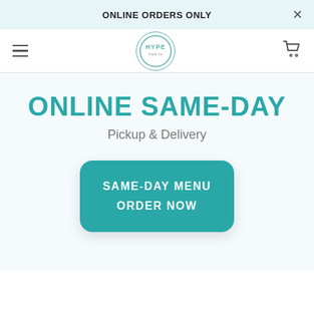ONLINE ORDERS ONLY
[Figure (logo): HYPE food co circular logo with teal border]
ONLINE SAME-DAY
Pickup & Delivery
SAME-DAY MENU ORDER NOW